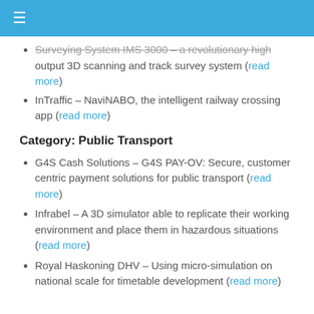≡
Surveying System IMS 3000 – a revolutionary high output 3D scanning and track survey system (read more)
InTraffic – NaviNABO, the intelligent railway crossing app (read more)
Category: Public Transport
G4S Cash Solutions – G4S PAY-OV: Secure, customer centric payment solutions for public transport (read more)
Infrabel – A 3D simulator able to replicate their working environment and place them in hazardous situations (read more)
Royal Haskoning DHV – Using micro-simulation on national scale for timetable development (read more)